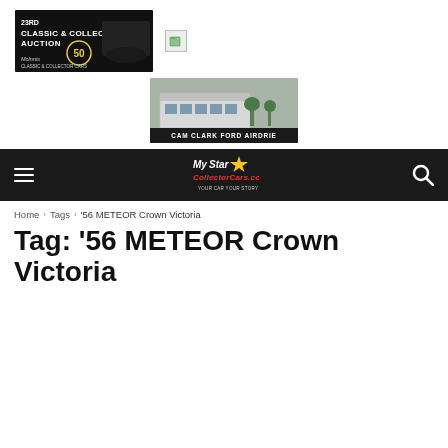[Figure (photo): Classic & Collector Auction banner ad - dark background with car and '50 Years' text]
[Figure (photo): Small folder/file icon]
[Figure (photo): Cam Clark Ford Airdrie dealership advertisement showing building exterior]
[Figure (logo): My Star Collector Cars website navigation bar with hamburger menu and search icon]
Home › Tags › '56 METEOR Crown Victoria
Tag: '56 METEOR Crown Victoria